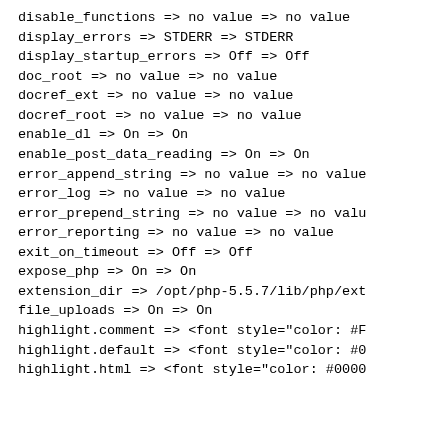disable_functions => no value => no value
display_errors => STDERR => STDERR
display_startup_errors => Off => Off
doc_root => no value => no value
docref_ext => no value => no value
docref_root => no value => no value
enable_dl => On => On
enable_post_data_reading => On => On
error_append_string => no value => no value
error_log => no value => no value
error_prepend_string => no value => no valu
error_reporting => no value => no value
exit_on_timeout => Off => Off
expose_php => On => On
extension_dir => /opt/php-5.5.7/lib/php/ext
file_uploads => On => On
highlight.comment => <font style="color: #F
highlight.default => <font style="color: #0
highlight.html => <font style="color: #0000